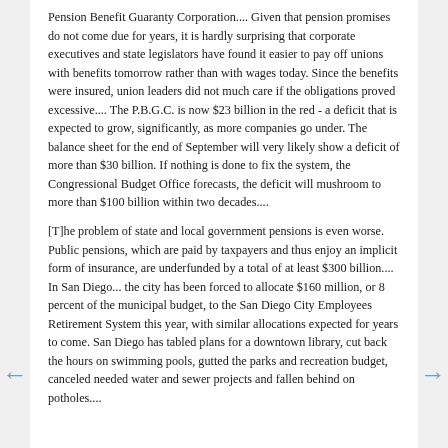Pension Benefit Guaranty Corporation.... Given that pension promises do not come due for years, it is hardly surprising that corporate executives and state legislators have found it easier to pay off unions with benefits tomorrow rather than with wages today. Since the benefits were insured, union leaders did not much care if the obligations proved excessive.... The P.B.G.C. is now $23 billion in the red - a deficit that is expected to grow, significantly, as more companies go under. The balance sheet for the end of September will very likely show a deficit of more than $30 billion. If nothing is done to fix the system, the Congressional Budget Office forecasts, the deficit will mushroom to more than $100 billion within two decades....
[T]he problem of state and local government pensions is even worse. Public pensions, which are paid by taxpayers and thus enjoy an implicit form of insurance, are underfunded by a total of at least $300 billion.... In San Diego... the city has been forced to allocate $160 million, or 8 percent of the municipal budget, to the San Diego City Employees Retirement System this year, with similar allocations expected for years to come. San Diego has tabled plans for a downtown library, cut back the hours on swimming pools, gutted the parks and recreation budget, canceled needed water and sewer projects and fallen behind on potholes....